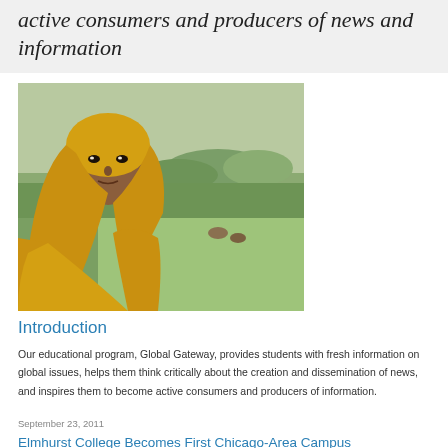active consumers and producers of news and information
[Figure (photo): A young woman wearing a yellow headscarf and sari, standing in a green rural field with trees in the background.]
Introduction
Our educational program, Global Gateway, provides students with fresh information on global issues, helps them think critically about the creation and dissemination of news, and inspires them to become active consumers and producers of information.
September 23, 2011
Elmhurst College Becomes First Chicago-Area Campus